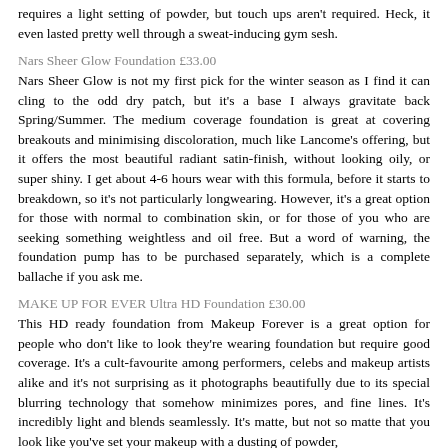requires a light setting of powder, but touch ups aren't required. Heck, it even lasted pretty well through a sweat-inducing gym sesh.
Nars Sheer Glow Foundation £33.00
Nars Sheer Glow is not my first pick for the winter season as I find it can cling to the odd dry patch, but it's a base I always gravitate back Spring/Summer. The medium coverage foundation is great at covering breakouts and minimising discoloration, much like Lancome's offering, but it offers the most beautiful radiant satin-finish, without looking oily, or super shiny. I get about 4-6 hours wear with this formula, before it starts to breakdown, so it's not particularly longwearing. However, it's a great option for those with normal to combination skin, or for those of you who are seeking something weightless and oil free. But a word of warning, the foundation pump has to be purchased separately, which is a complete ballache if you ask me.
MAKE UP FOR EVER Ultra HD Foundation £30.00
This HD ready foundation from Makeup Forever is a great option for people who don't like to look they're wearing foundation but require good coverage. It's a cult-favourite among performers, celebs and makeup artists alike and it's not surprising as it photographs beautifully due to its special blurring technology that somehow minimizes pores, and fine lines. It's incredibly light and blends seamlessly. It's matte, but not so matte that you look like you've set your makeup with a dusting of powder,